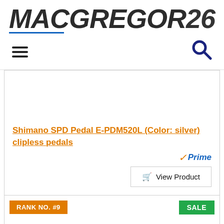[Figure (logo): MacGregor26 website logo in bold italic dark text with blue underline accent]
[Figure (other): Navigation bar with hamburger menu icon on left and search magnifying glass icon on right]
Shimano SPD Pedal E-PDM520L (Color: silver) clipless pedals
[Figure (logo): Amazon Prime badge with orange checkmark and blue italic Prime text]
[Figure (other): View Product button with shopping cart icon]
RANK NO. #9
SALE